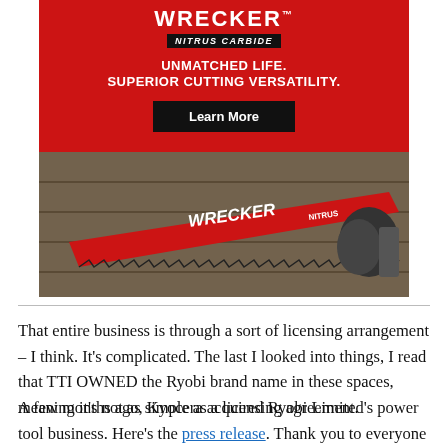[Figure (photo): Milwaukee Tool WRECKER Nitrus Carbide advertisement with red background showing product name, tagline 'UNMATCHED LIFE. SUPERIOR CUTTING VERSATILITY.' and a Learn More button, with a photo of a red reciprocating saw blade labeled WRECKER NITRUS CARBIDE cutting through wood/metal.]
That entire business is through a sort of licensing arrangement – I think. It's complicated. The last I looked into things, I read that TTI OWNED the Ryobi brand name in these spaces, meaning it's not as simple as a licensing agreement.
A few months ago, Kyocera acquired Ryobi Limited's power tool business. Here's the press release. Thank you to everyone who wrote in about this at the time! I had decided